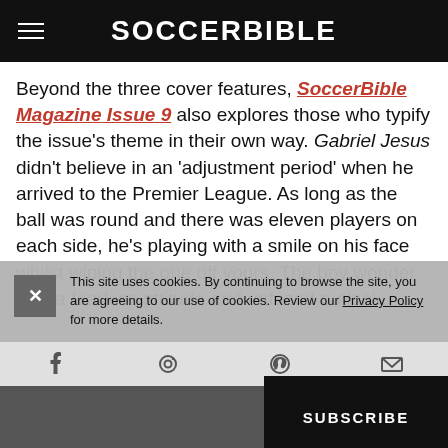SOCCERBIBLE
Beyond the three cover features, SoccerBible Magazine Issue 9 also explores those who typify the issue's theme in their own way. Gabriel Jesus didn't believe in an 'adjustment period' when he arrived to the Premier League. As long as the ball was round and there was eleven players on each side, he's playing with a smile on his face whilst wiping the one off yours. The boy wonder with a fearless attitude and unfazed outlook.
This site uses cookies. By continuing to browse the site, you are agreeing to our use of cookies. Review our Privacy Policy for more details.
SUBSCRIBE